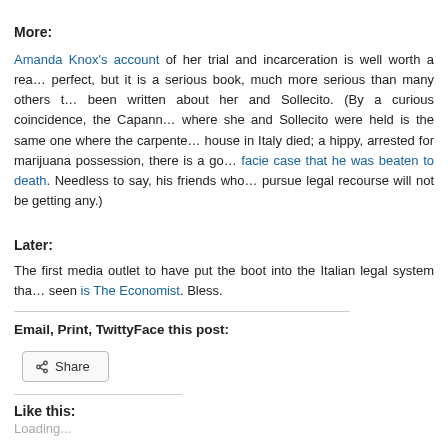More:
Amanda Knox's account of her trial and incarceration is well worth a read. It is not perfect, but it is a serious book, much more serious than many others that have been written about her and Sollecito. (By a curious coincidence, the Capanne prison where she and Sollecito were held is the same one where the carpenter who fixed his house in Italy died; a hippy, arrested for marijuana possession, there is a good prima facie case that he was beaten to death. Needless to say, his friends who wanted to pursue legal recourse will not be getting any.)
Later:
The first media outlet to have put the boot into the Italian legal system that I have seen is The Economist. Bless.
Email, Print, TwittyFace this post:
Share
Like this:
Loading...